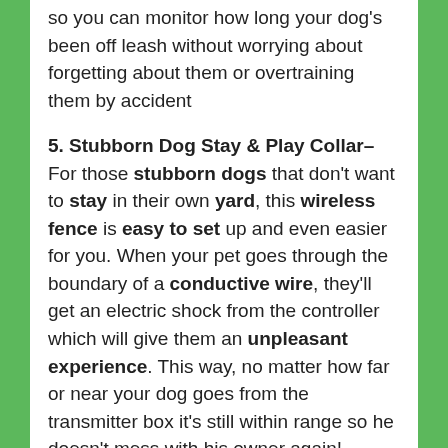so you can monitor how long your dog's been off leash without worrying about forgetting about them or overtraining them by accident
5. Stubborn Dog Stay & Play Collar- For those stubborn dogs that don't want to stay in their own yard, this wireless fence is easy to set up and even easier for you. When your pet goes through the boundary of a conductive wire, they'll get an electric shock from the controller which will give them an unpleasant experience. This way, no matter how far or near your dog goes from the transmitter box it's still within range so he doesn't mess with his owner again!
6. Simple Set-Up- The PetSafe Stay and Play